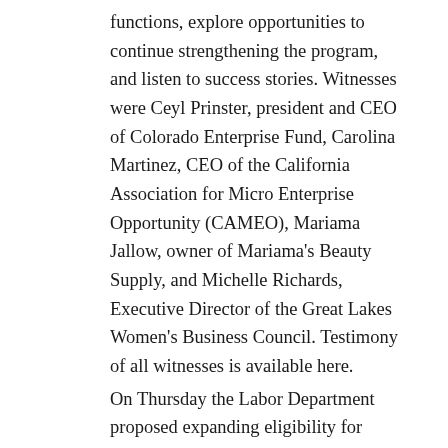functions, explore opportunities to continue strengthening the program, and listen to success stories. Witnesses were Ceyl Prinster, president and CEO of Colorado Enterprise Fund, Carolina Martinez, CEO of the California Association for Micro Enterprise Opportunity (CAMEO), Mariama Jallow, owner of Mariama's Beauty Supply, and Michelle Richards, Executive Director of the Great Lakes Women's Business Council. Testimony of all witnesses is available here.
On Thursday the Labor Department proposed expanding eligibility for overtime pay to an additional 1.1 million workers. Under the proposed rule, the salary threshold under which workers are eligible for overtime pay would be $35,308 – higher than the current threshold of $23,660, but well below the $47,476 threshold enacted by the DOL in 2016, which was subsequently enjoined by a federal court before taking effect.